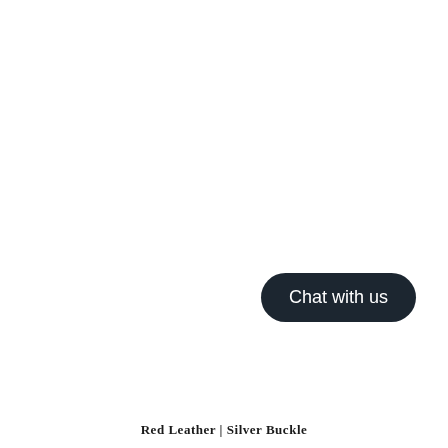[Figure (other): A dark rounded pill-shaped button with white text reading 'Chat with us']
Red Leather | Silver Buckle